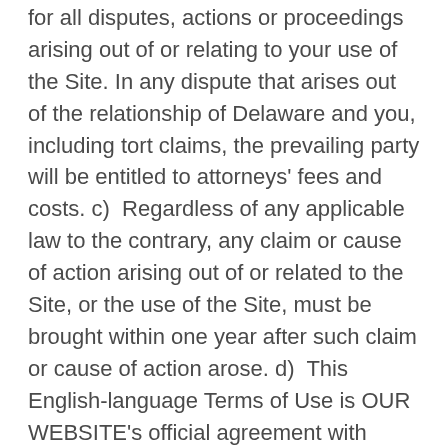for all disputes, actions or proceedings arising out of or relating to your use of the Site. In any dispute that arises out of the relationship of Delaware and you, including tort claims, the prevailing party will be entitled to attorneys' fees and costs. c)  Regardless of any applicable law to the contrary, any claim or cause of action arising out of or related to the Site, or the use of the Site, must be brought within one year after such claim or cause of action arose. d)  This English-language Terms of Use is OUR WEBSITE's official agreement with users of this Site. In case of any inconsistency between this English-language Terms of Use and its translation into another language, this English-language document